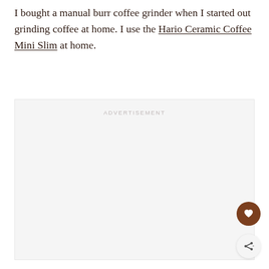I bought a manual burr coffee grinder when I started out grinding coffee at home. I use the Hario Ceramic Coffee Mini Slim at home.
[Figure (other): Advertisement placeholder box with 'ADVERTISEMENT' label at top center]
[Figure (other): Heart/favorite button (brown circle with white heart icon) and share button (light circle with share icon) positioned at bottom right]